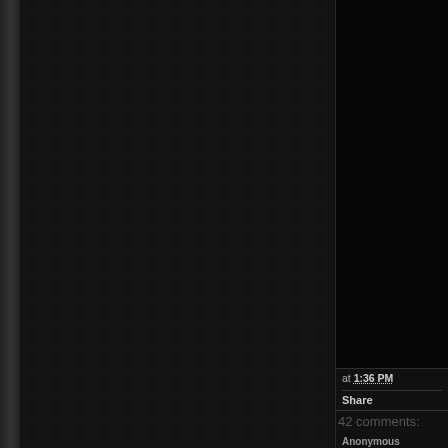[Figure (screenshot): Dark-themed blog/website screenshot showing a black textured left panel with dot pattern, a dark right sidebar with timestamp, share link, comment count (42 comments), and a comment from Anonymous saying 'I love it !!!!!' with a Reply link.]
at 1:36 PM
Share
42 comments:
Anonymous
I love it !!!!!
Reply